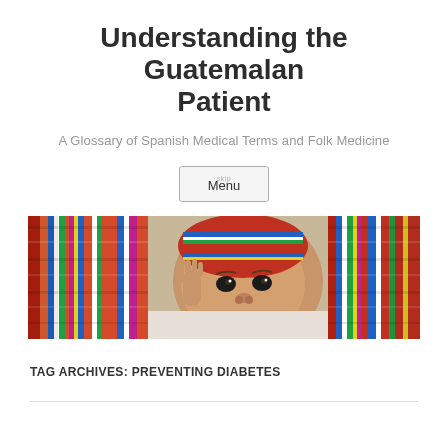Understanding the Guatemalan Patient
A Glossary of Spanish Medical Terms and Folk Medicine
Menu
[Figure (photo): A Guatemalan infant wrapped in colorful traditional woven textile, peeking out from the fabric with one hand raised]
TAG ARCHIVES: PREVENTING DIABETES